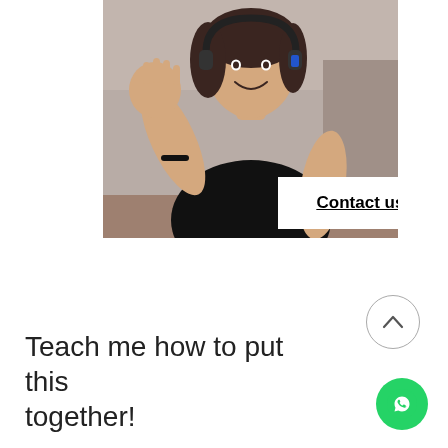[Figure (photo): Woman wearing headphones waving at camera, smiling, wearing a black top, sitting at a desk. Photo has a 'Contact us' button overlaid on the lower center.]
Contact us
[Figure (other): Circular scroll-to-top button with an upward chevron arrow]
[Figure (other): Green circular WhatsApp button with phone/message icon]
Teach me how to put this together!